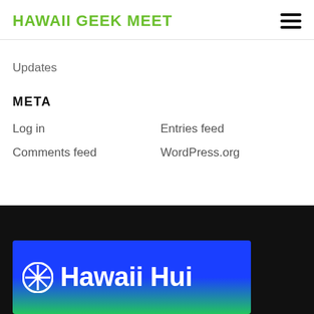HAWAII GEEK MEET
Updates
META
Log in
Entries feed
Comments feed
WordPress.org
[Figure (logo): Hawaii Hui logo banner on black background — blue-to-green gradient rectangle with a white stylized icon and bold white text reading 'Hawaii Hui']